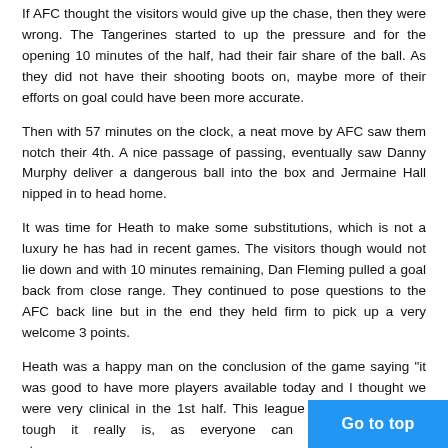If AFC thought the visitors would give up the chase, then they were wrong. The Tangerines started to up the pressure and for the opening 10 minutes of the half, had their fair share of the ball. As they did not have their shooting boots on, maybe more of their efforts on goal could have been more accurate.
Then with 57 minutes on the clock, a neat move by AFC saw them notch their 4th. A nice passage of passing, eventually saw Danny Murphy deliver a dangerous ball into the box and Jermaine Hall nipped in to head home.
It was time for Heath to make some substitutions, which is not a luxury he has had in recent games. The visitors though would not lie down and with 10 minutes remaining, Dan Fleming pulled a goal back from close range. They continued to pose questions to the AFC back line but in the end they held firm to pick up a very welcome 3 points.
Heath was a happy man on the conclusion of the game saying "it was good to have more players available today and I thought we were very clinical in the 1st half. This league goes to show how tough it really is, as everyone can beat each other at... If today was a Spartan game last season, being 3... time, we would have probably gone on to win 6 or 7. The Southern...